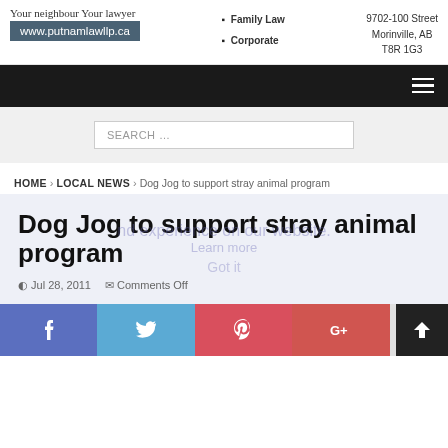Your neighbour Your lawyer | www.putnamlawllp.ca | Family Law | Corporate | 9702-100 Street Morinville, AB T8R 1G3
[Figure (screenshot): Navigation bar with dark background and hamburger menu icon on the right]
[Figure (screenshot): Search bar with placeholder text SEARCH ...]
HOME > LOCAL NEWS > Dog Jog to support stray animal program
Dog Jog to support stray animal program
Jul 28, 2011   Comments Off
[Figure (screenshot): Social sharing bar with Facebook, Twitter, Pinterest, Google+ buttons and back-to-top arrow button]